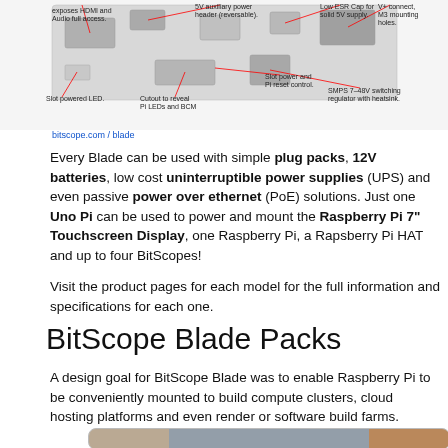[Figure (engineering-diagram): Top portion of a BitScope Blade engineering diagram with callout labels pointing to various components including: HDMI and Audio full access, 5V auxiliary power header (reversable), Low ESR Cap for solid 5V supply, V+ connect M3 mounting holes, Slot powered LED, Cutout to reveal Pi LEDs and BCM, Slot power and Pi reset control, SMPS 7-48V switching regulator with heatsink.]
bitscope.com / blade
Every Blade can be used with simple plug packs, 12V batteries, low cost uninterruptible power supplies (UPS) and even passive power over ethernet (PoE) solutions. Just one Uno Pi can be used to power and mount the Raspberry Pi 7" Touchscreen Display, one Raspberry Pi, a Rapsberry Pi HAT and up to four BitScopes!
Visit the product pages for each model for the full information and specifications for each one.
BitScope Blade Packs
A design goal for BitScope Blade was to enable Raspberry Pi to be conveniently mounted to build compute clusters, cloud hosting platforms and even render or software build farms.
[Figure (photo): Photograph of BitScope Blade hardware showing a rack-mounted cluster board with Raspberry Pi modules, orange cables/connectors visible, inside a rounded-corner white/gray box.]